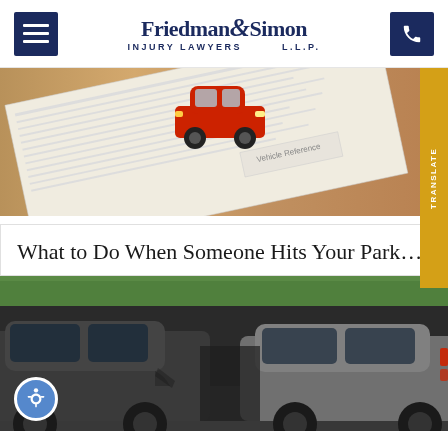Friedman & Simon Injury Lawyers L.L.P.
[Figure (photo): A toy red car placed on top of insurance or accident paperwork documents on a wooden surface.]
What to Do When Someone Hits Your Parked Ca...
[Figure (photo): Several cars in a parking lot, one showing front-end collision damage.]